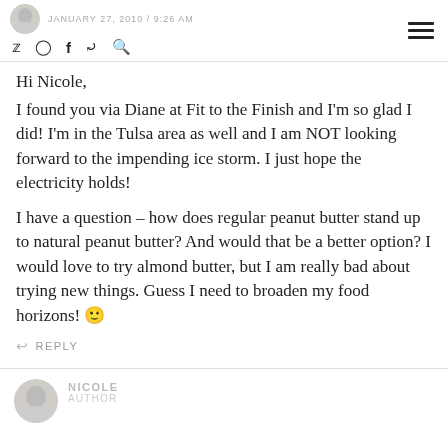JANUARY 27, 2010 / 9:26 AM
Hi Nicole,
I found you via Diane at Fit to the Finish and I'm so glad I did! I'm in the Tulsa area as well and I am NOT looking forward to the impending ice storm. I just hope the electricity holds!
I have a question – how does regular peanut butter stand up to natural peanut butter? And would that be a better option? I would love to try almond butter, but I am really bad about trying new things. Guess I need to broaden my food horizons! 🙂
↩ REPLY
NICOLE
AUTHOR